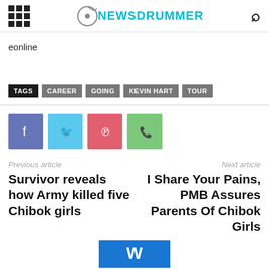NEWSDRUMMER
eonline
TAGS  CAREER  GOING  KEVIN HART  TOUR
[Figure (other): Social share buttons: Facebook, Twitter, Pinterest, WhatsApp]
Previous article
Next article
Survivor reveals how Army killed five Chibok girls
I Share Your Pains, PMB Assures Parents Of Chibok Girls
[Figure (logo): Blue WordPress-style logo at bottom of page]